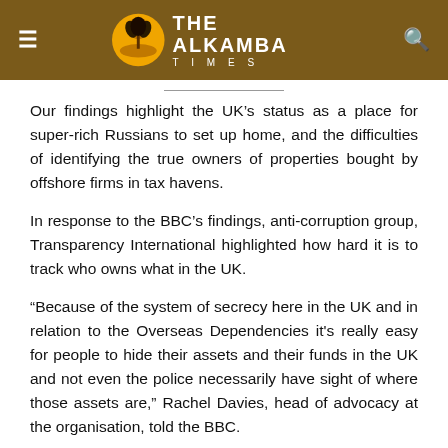THE ALKAMBA TIMES
Our findings highlight the UK’s status as a place for super-rich Russians to set up home, and the difficulties of identifying the true owners of properties bought by offshore firms in tax havens.
In response to the BBC’s findings, anti-corruption group, Transparency International highlighted how hard it is to track who owns what in the UK.
“Because of the system of secrecy here in the UK and in relation to the Overseas Dependencies it’s really easy for people to hide their assets and their funds in the UK and not even the police necessarily have sight of where those assets are,” Rachel Davies, head of advocacy at the organisation, told the BBC.